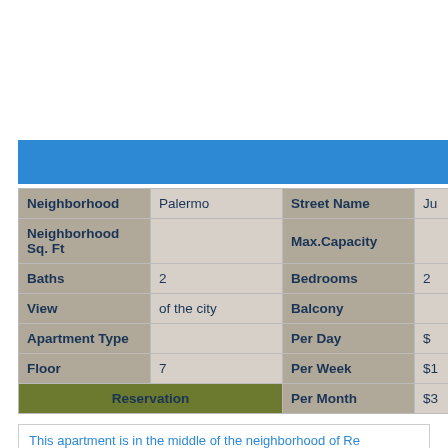| Neighborhood | Palermo | Street Name | Ju... |
| --- | --- | --- | --- |
| Neighborhood Sq. Ft |  | Max.Capacity |  |
| Baths | 2 | Bedrooms | 2 |
| View | of the city | Balcony |  |
| Apartment Type |  | Per Day | $... |
| Floor | 7 | Per Week | $1... |
| Reservation |  | Per Month | $3... |
This apartment is in the middle of the neighborhood of Re...